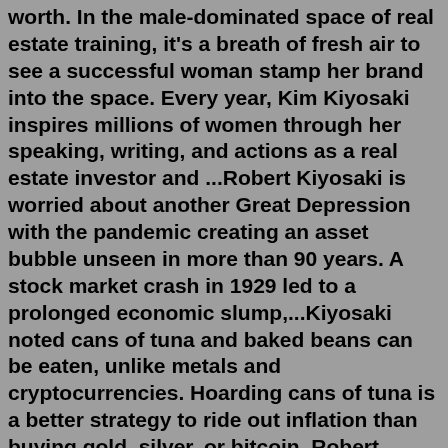worth. In the male-dominated space of real estate training, it's a breath of fresh air to see a successful woman stamp her brand into the space. Every year, Kim Kiyosaki inspires millions of women through her speaking, writing, and actions as a real estate investor and ...Robert Kiyosaki is worried about another Great Depression with the pandemic creating an asset bubble unseen in more than 90 years. A stock market crash in 1929 led to a prolonged economic slump,...Kiyosaki noted cans of tuna and baked beans can be eaten, unlike metals and cryptocurrencies. Hoarding cans of tuna is a better strategy to ride out inflation than buying gold, silver, or bitcoin, Robert Kiyosaki declared in a bizarre tweet on Sunday night. "Best INVESTMENT: Cans of Tuna Fish," he said. "Inflation about to take off.Robert Kiyosaki invented the Cashflow Quadrant many years ago and introduced it to the world in his book Rich Dad, Poor Dad. The idea revolutionized the way people thought about work, careers and making money. It was an